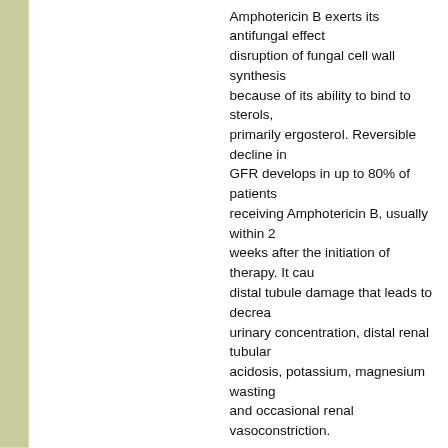Amphotericin B exerts its antifungal effect disruption of fungal cell wall synthesis because of its ability to bind to sterols, primarily ergosterol. Reversible decline in GFR develops in up to 80% of patients receiving Amphotericin B, usually within 2 weeks after the initiation of therapy. It causes distal tubule damage that leads to decreased urinary concentration, distal renal tubular acidosis, potassium, magnesium wasting and occasional renal vasoconstriction.
...story of hypovolemia during renal ...ure at risk ...voided by ...The plasma ...does not ...in the ...as volume ...otoxic use ...should be ...of therapy
[Figure (screenshot): Cookie consent banner overlay with text: 'This website uses cookies. By continuing to use this website you are giving consent to cookies being used. For information on cookies and how you can disable them visit our Privacy and Cookie Policy.' with a red 'AGREE & PROCEED' button.]
(up to 2 weeks) and at least weekly